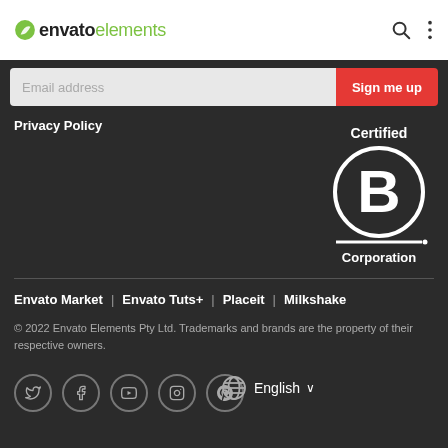envato elements
Email address
Sign me up
Privacy Policy
[Figure (logo): Certified B Corporation logo — circular B emblem with 'Certified' above and 'Corporation' below]
Envato Market | Envato Tuts+ | Placeit | Milkshake
© 2022 Envato Elements Pty Ltd. Trademarks and brands are the property of their respective owners.
[Figure (infographic): Row of social media icons (Twitter, Facebook, YouTube, Instagram, Pinterest) followed by globe icon and English language selector]